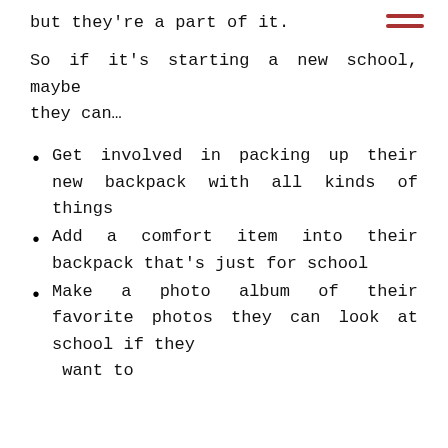but they're a part of it.
So if it's starting a new school, maybe they can…
Get involved in packing up their new backpack with all kinds of things
Add a comfort item into their backpack that's just for school
Make a photo album of their favorite photos they can look at school if they want to